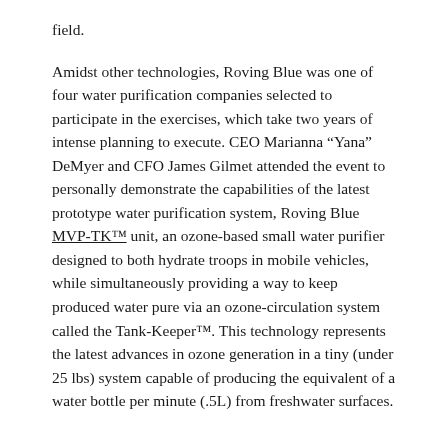field.
Amidst other technologies, Roving Blue was one of four water purification companies selected to participate in the exercises, which take two years of intense planning to execute. CEO Marianna “Yana” DeMyer and CFO James Gilmet attended the event to personally demonstrate the capabilities of the latest prototype water purification system, Roving Blue MVP-TK™ unit, an ozone-based small water purifier designed to both hydrate troops in mobile vehicles, while simultaneously providing a way to keep produced water pure via an ozone-circulation system called the Tank-Keeper™. This technology represents the latest advances in ozone generation in a tiny (under 25 lbs) system capable of producing the equivalent of a water bottle per minute (.5L) from freshwater surfaces.